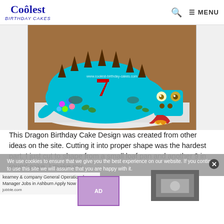Coolest Birthday Cakes — MENU
[Figure (photo): A dragon-shaped birthday cake covered in blue frosting with chocolate spikes along the back, a red number 7 on top, colorful candy balls, a separate small cube-shaped head piece with googly eyes, red fondant claws, and green fondant accents. The cake sits on a white cake board. Watermark: www.coolest-birthday-cakes.com]
This Dragon Birthday Cake Design was created from other ideas on the site. Cutting it into proper shape was the hardest part. I just cut to shape from a small loaf pan and another 9 in round cake. I make my …